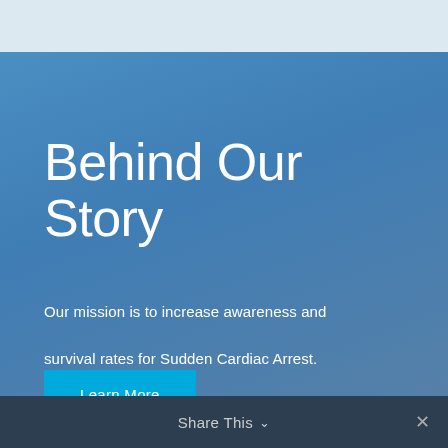[Figure (illustration): Light blue top navigation bar area]
Behind Our Story
Our mission is to increase awareness and survival rates for Sudden Cardiac Arrest.
Learn More
Share This ∨  ×